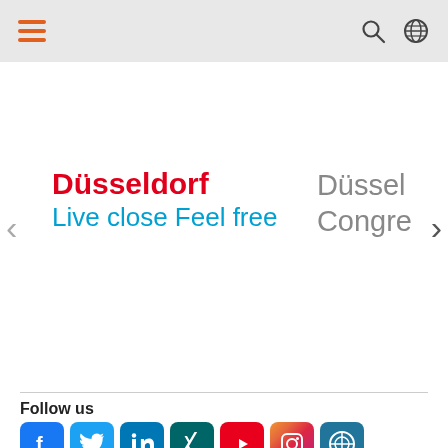Navigation header bar with hamburger menu, search icon, and globe icon
[Figure (screenshot): Website slider showing 'Düsseldorf Live close Feel free' as first slide with left and right navigation arrows, and partially visible second slide showing 'Düssel Congre' text]
Follow us
[Figure (infographic): Social media icons row: Facebook, Twitter, LinkedIn, Xing, YouTube, Instagram, WordPress]